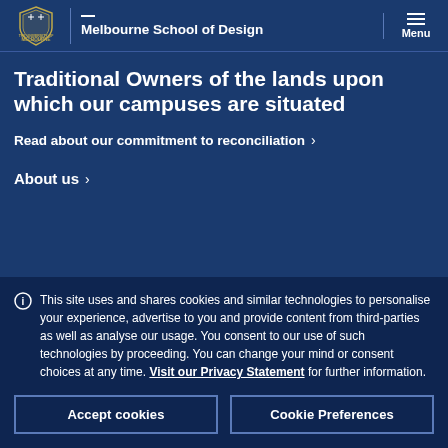Melbourne School of Design
Traditional Owners of the lands upon which our campuses are situated
Read about our commitment to reconciliation >
About us >
This site uses and shares cookies and similar technologies to personalise your experience, advertise to you and provide content from third-parties as well as analyse our usage. You consent to our use of such technologies by proceeding. You can change your mind or consent choices at any time. Visit our Privacy Statement for further information.
Accept cookies
Cookie Preferences